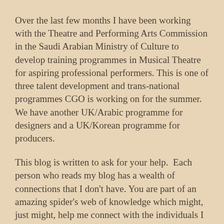Over the last few months I have been working with the Theatre and Performing Arts Commission in the Saudi Arabian Ministry of Culture to develop training programmes in Musical Theatre for aspiring professional performers. This is one of three talent development and trans-national programmes CGO is working on for the summer. We have another UK/Arabic programme for designers and a UK/Korean programme for producers.
This blog is written to ask for your help.  Each person who reads my blog has a wealth of connections that I don't have. You are part of an amazing spider's web of knowledge which might, just might, help me connect with the individuals I need to find at the moment.
Our UK creative team for the Saudi project are Musical Theatre specialists and highly skilled in bringing out the best in a group of aspiring artists. They have worked all over the different places throughout. This is really for a first…